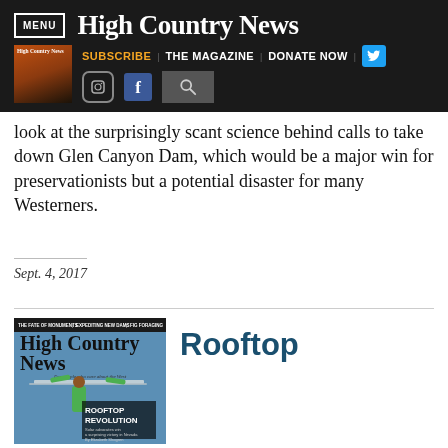MENU | High Country News | SUBSCRIBE | THE MAGAZINE | DONATE NOW
look at the surprisingly scant science behind calls to take down Glen Canyon Dam, which would be a major win for preservationists but a potential disaster for many Westerners.
Sept. 4, 2017
[Figure (photo): Magazine cover of High Country News featuring a worker carrying a solar panel, with headline ROOFTOP REVOLUTION - Solar advocates win a surprising victory in Nevada, By Elizabeth Shogren]
Rooftop